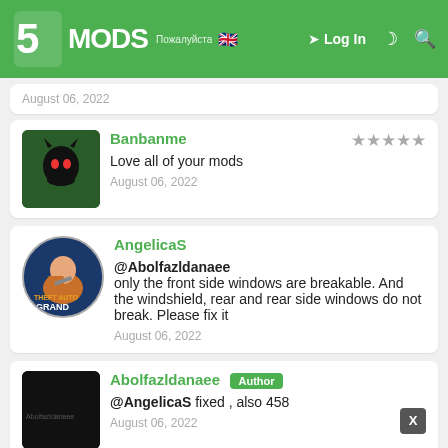5MODS — Log In
August 06, 2022
Banbanme — Love all of your mods — August 06, 2022
AngelicaS — @Abolfazldanaee only the front side windows are breakable. And the windshield, rear and rear side windows do not break. Please fix it — August 06, 2022
Abolfazldanaee [Author] — @AngelicaS fixed , also 458 — August 06, 2022
GurMan